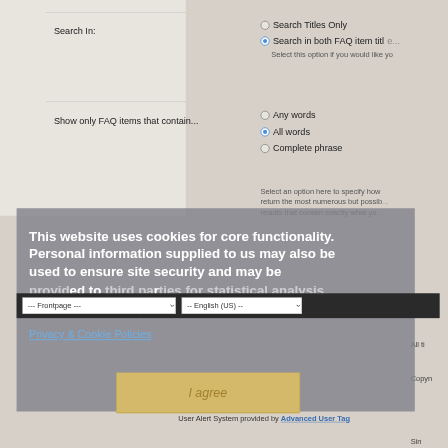Search In:
Search Titles Only
Search in both FAQ item titl...
Select this option if you would like yo...
Show only FAQ items that contain...
Any words
All words
Complete phrase
Select an option here to specify how... return the most numerous but possib... results that contain exactly what you...
This website uses cookies for core functionality. Personal information supplied to us may also be used to ensure site security and may be provided to third parties for statistical analysis.
Privacy & Cookie Policies
All ti...
Copyn...
I agree
User Alert System provided by Advanced User Tag...
Sin...